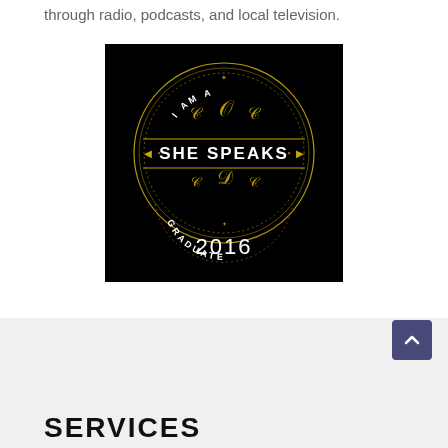through radio, podcasts, and local television.
[Figure (logo): Circular badge on black background with gold ornamental decorations. Text reads 'I AM A' at top, 'SHE SPEAKS' in large white letters in the center banner, 'GRADUATE' at the bottom arc, and '2016' below.]
SERVICES